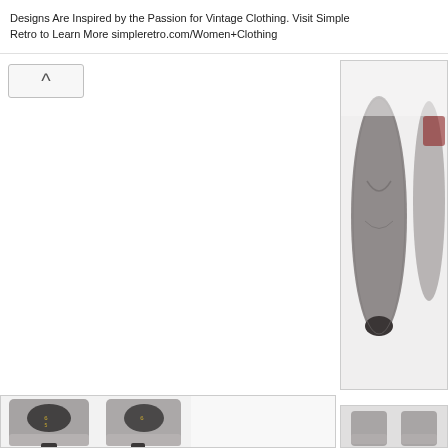Designs Are Inspired by the Passion for Vintage Clothing. Visit Simple Retro to Learn More simpleretro.com/Women+Clothing
[Figure (photo): Close-up top-down view of gray suede open-toe heeled shoes on a white background]
[Figure (photo): Back view of gray suede ankle-strap heeled shoes showing the interior lining and heels on a white background]